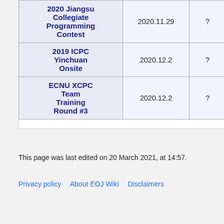| Contest | Date | ? | 8/ |
| --- | --- | --- | --- |
| 2020 Jiangsu Collegiate Programming Contest | 2020.11.29 | ? | 6/ |
| 2019 ICPC Yinchuan Onsite | 2020.12.2 | ? | 8/ |
| ECNU XCPC Team Training Round #3 | 2020.12.2 | ? | 8/ |
This page was last edited on 20 March 2021, at 14:57.
Privacy policy   About EOJ Wiki   Disclaimers